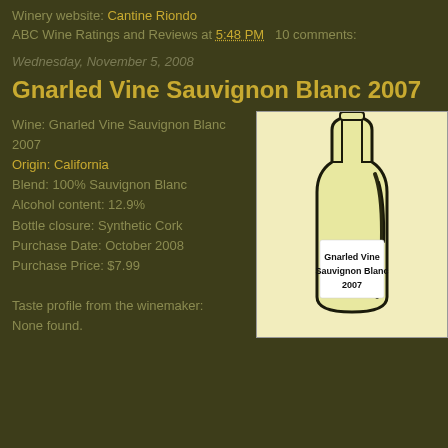Winery website: Cantine Riondo
ABC Wine Ratings and Reviews at 5:48 PM   10 comments:
Wednesday, November 5, 2008
Gnarled Vine Sauvignon Blanc 2007
Wine: Gnarled Vine Sauvignon Blanc 2007
Origin: California
Blend: 100% Sauvignon Blanc
Alcohol content: 12.9%
Bottle closure: Synthetic Cork
Purchase Date: October 2008
Purchase Price: $7.99

Taste profile from the winemaker:
None found.
[Figure (illustration): Illustration of a wine bottle with label reading 'Gnarled Vine Sauvignon Blanc 2007' on a light yellow-green background]